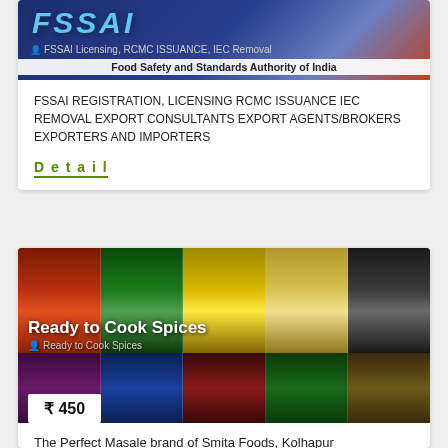[Figure (photo): FSSAI Licensing, RCMC ISSUANCE, IEC Removal banner with FSSAI logo and subtitle. Shows Food Safety and Standards Authority of India text.]
FSSAI REGISTRATION, LICENSING RCMC ISSUANCE IEC REMOVAL EXPORT CONSULTANTS EXPORT AGENTS/BROKERS EXPORTERS AND IMPORTERS
Detail
[Figure (photo): Ready to Cook Spices product image showing multiple Prajal brand spice packets including Kolhapuri Mutton Masala, Kolhapuri Chicken Masala, Kanda Lasan Masala, Kolhapuri Goda Masala, Special Garam Masala and more.]
₹ 450
The Perfect Masale brand of Smita Foods, Kolhapur (Maharashtra), India. We have been providing all our products for the domestic/International customers by